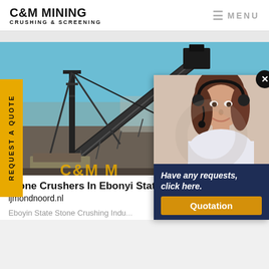C&M MINING CRUSHING & SCREENING | MENU
[Figure (photo): Industrial mining/crushing conveyor equipment on a construction site with blue sky background]
REQUEST A QUOTE
Stone Crushers In Ebonyi State ijmondnoord.nl
Eboyin State Stone Crushing Indu...
[Figure (photo): Customer service representative woman with headset smiling, with popup overlay saying 'Have any requests, click here.' and Quotation button]